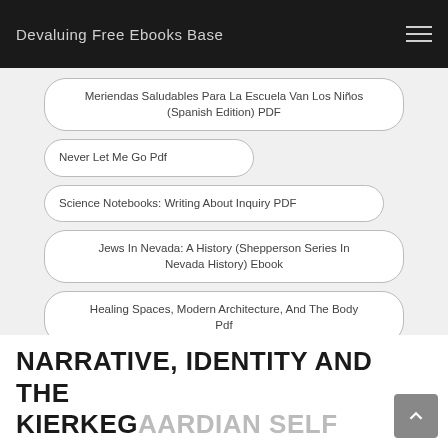Devaluing Free Ebooks Base
Meriendas Saludables Para La Escuela Van Los Niños (Spanish Edition) PDF
Never Let Me Go Pdf
Science Notebooks: Writing About Inquiry PDF
Jews In Nevada: A History (Shepperson Series In Nevada History) Ebook
Healing Spaces, Modern Architecture, And The Body Pdf
NARRATIVE, IDENTITY AND THE KIERKEGAARDIAN SELF